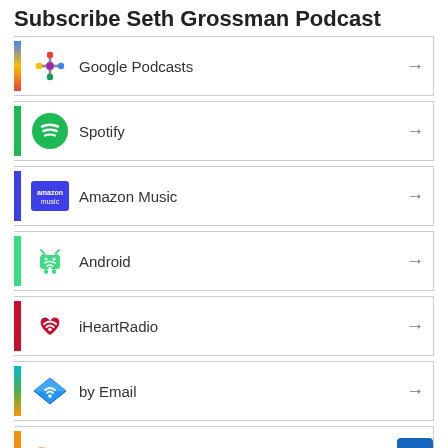Subscribe Seth Grossman Podcast
Google Podcasts
Spotify
Amazon Music
Android
iHeartRadio
by Email
RSS